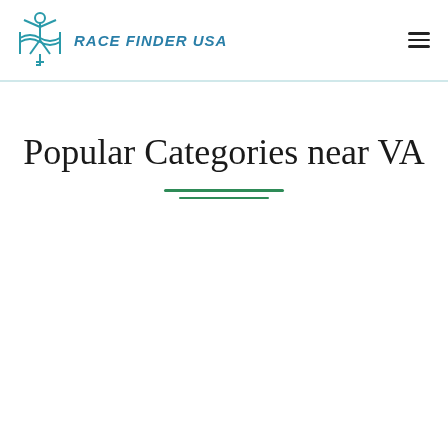RACE FINDER USA
Popular Categories near VA